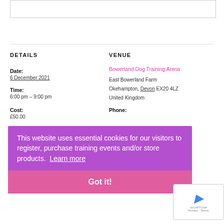[Figure (other): Top empty bordered box (form/image area)]
DETAILS
VENUE
Date:
6 December 2021
Time:
6:00 pm – 9:00 pm
Bowerland Dog Training Arena
East Bowerland Farm
Okehampton, Devon EX20 4LZ
United Kingdom
Cost:
£50.00
Phone:
Event Categories:
Agility, Agility Workshops, Lauren Langman, Specialised
This website uses essential cookies for our visitors to register, purchase training events and/or store products. Learn more
Got it!